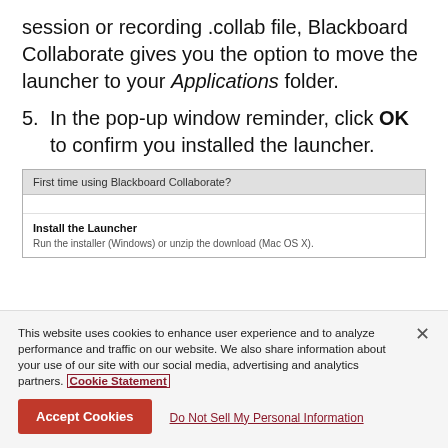session or recording .collab file, Blackboard Collaborate gives you the option to move the launcher to your Applications folder.
5. In the pop-up window reminder, click OK to confirm you installed the launcher.
[Figure (screenshot): Screenshot of a Blackboard Collaborate pop-up dialog titled 'First time using Blackboard Collaborate?' with a section 'Install the Launcher' and text 'Run the installer (Windows) or unzip the download (Mac OS X).']
This website uses cookies to enhance user experience and to analyze performance and traffic on our website. We also share information about your use of our site with our social media, advertising and analytics partners. Cookie Statement
Accept Cookies   Do Not Sell My Personal Information